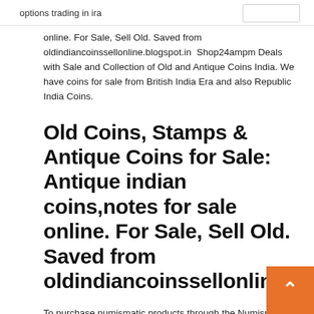options trading in ira
online. For Sale, Sell Old. Saved from oldindiancoinssellonline.blogspot.in  Shop24ampm Deals with Sale and Collection of Old and Antique Coins India. We have coins for sale from British India Era and also Republic India Coins.
Old Coins, Stamps & Antique Coins for Sale: Antique indian coins,notes for sale online. For Sale, Sell Old. Saved from oldindiancoinssellonline.blogspc
To purchase numismatic products through the Numismatic Bulk Purchase Program, an applicant must attest to the fact that it is one of the following: a licensed full–time "coin dealer" (any state–licensed firm or company engaged in the commercial sale of coins via storefront, coin shows or online)